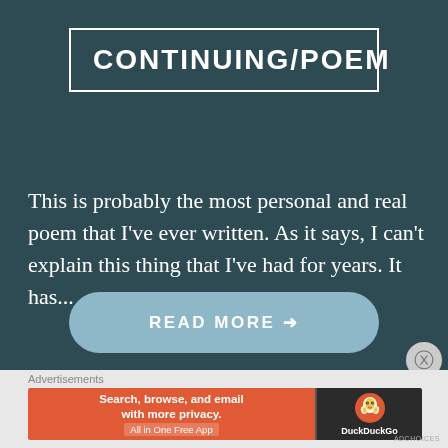CONTINUING/POEM
This is probably the most personal and real poem that I've ever written. As it says, I can't explain this thing that I've had for years. It has...
READ MORE →
Advertisements
[Figure (screenshot): DuckDuckGo advertisement banner: orange background with text 'Search, browse, and email with more privacy. All in One Free App' on the left, dark background with DuckDuckGo duck logo and 'DuckDuckGo' text on the right]